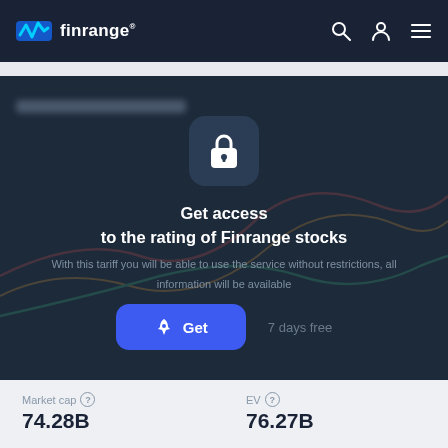finrange
[Figure (screenshot): Finrange app lock screen overlay with padlock icon, CTA text, and Get button over a blurred stock chart background]
Get access
to the rating of Finrange stocks
With this tariff you will be able to use the service without restrictions, all information will be available
Get   7 days free
Market cap  74.28B
EV  76.27B